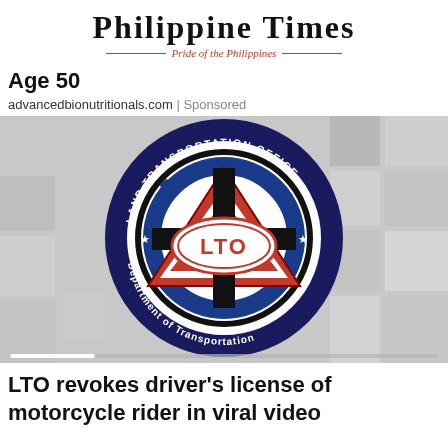Philippine Times — Pride of the Philippines
Age 50
advancedbionutritionals.com | Sponsored
[Figure (logo): Land Transportation Office (LTO) official seal logo on a gray tiled background. The circular seal features 'LAND TRANSPORTATION OFFICE' around the top and 'Department of Transportation' around the bottom, with a blue gear, red triangle, and 'LTO' in red text at center, with stars. A video progress bar is visible at the bottom.]
LTO revokes driver's license of motorcycle rider in viral video